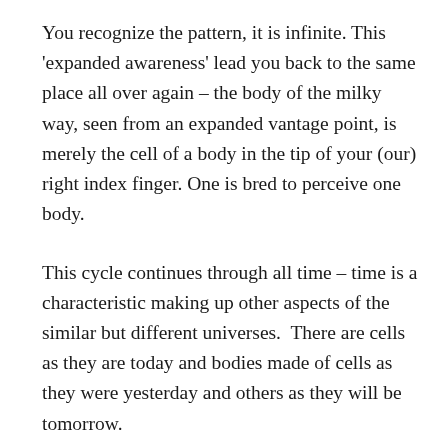You recognize the pattern, it is infinite. This 'expanded awareness' lead you back to the same place all over again – the body of the milky way, seen from an expanded vantage point, is merely the cell of a body in the tip of your (our) right index finger. One is bred to perceive one body.
This cycle continues through all time – time is a characteristic making up other aspects of the similar but different universes.  There are cells as they are today and bodies made of cells as they were yesterday and others as they will be tomorrow.
What hasn't changed is your role.  No matter your level of awareness and current perception of reality